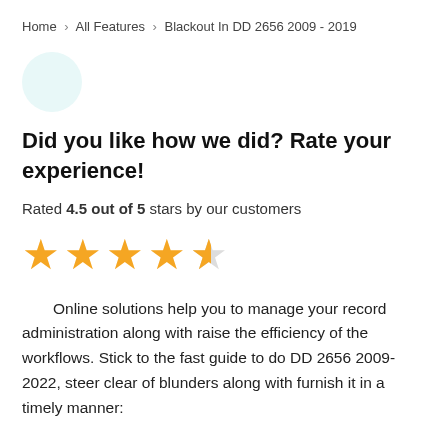Home › All Features › Blackout In DD 2656 2009 - 2019
[Figure (illustration): Thumbs down emoji icon inside a light teal circle]
Did you like how we did? Rate your experience!
Rated 4.5 out of 5 stars by our customers
[Figure (other): 4.5 out of 5 star rating shown as four full gold stars and one half gold star]
Online solutions help you to manage your record administration along with raise the efficiency of the workflows. Stick to the fast guide to do DD 2656 2009-2022, steer clear of blunders along with furnish it in a timely manner: